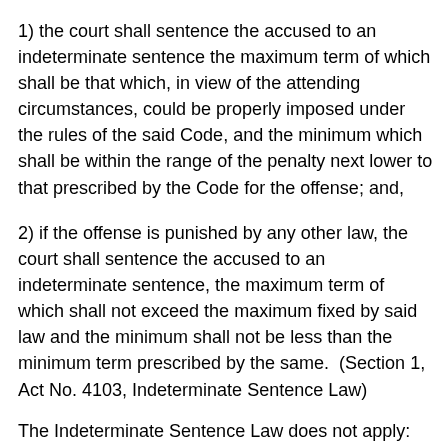1) the court shall sentence the accused to an indeterminate sentence the maximum term of which shall be that which, in view of the attending circumstances, could be properly imposed under the rules of the said Code, and the minimum which shall be within the range of the penalty next lower to that prescribed by the Code for the offense; and,
2) if the offense is punished by any other law, the court shall sentence the accused to an indeterminate sentence, the maximum term of which shall not exceed the maximum fixed by said law and the minimum shall not be less than the minimum term prescribed by the same.  (Section 1, Act No. 4103, Indeterminate Sentence Law)
The Indeterminate Sentence Law does not apply: